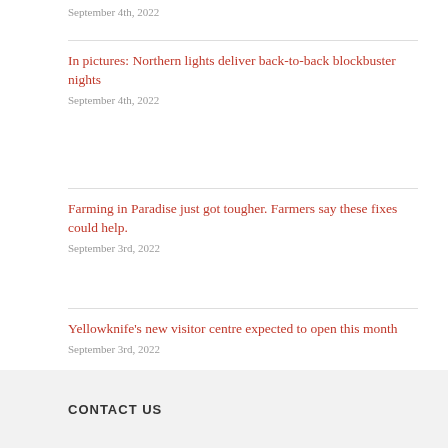September 4th, 2022
In pictures: Northern lights deliver back-to-back blockbuster nights
September 4th, 2022
Farming in Paradise just got tougher. Farmers say these fixes could help.
September 3rd, 2022
Yellowknife's new visitor centre expected to open this month
September 3rd, 2022
CONTACT US